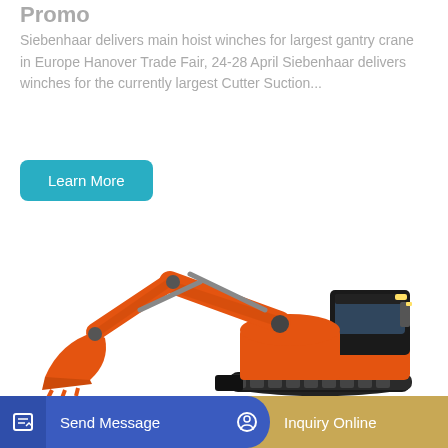Promo
Siebenhaar delivers main hoist winches for largest gantry crane in Europe Hanover Trade Fair, 24-28 April Siebenhaar delivers winches for the currently largest Cutter Suction...
Learn More
[Figure (photo): Orange Kubota mini excavator (model 295) on white background, showing full side/front view with extended arm, bucket, cab, and rubber tracks]
Send Message
Inquiry Online